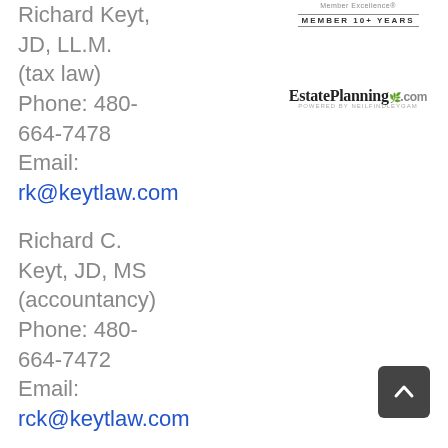Richard Keyt, JD, LL.M. (tax law) Phone: 480-664-7478 Email: rk@keytlaw.com
Richard C. Keyt, JD, MS (accountancy) Phone: 480-664-7472 Email: rck@keytlaw.com
[Figure (logo): Member Excellence MEMBER 10+ YEARS badge]
[Figure (logo): EstatePlanning.com logo]
7373 E. Doubletree Ranch Road Suite 135 Scottsdale,
[Figure (other): Back to top arrow button (dark gray rounded square with upward chevron)]